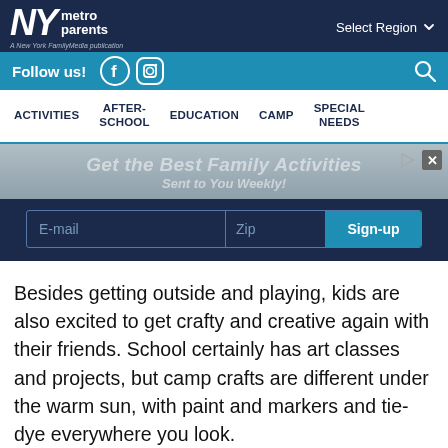NY metro parents — A New York FamilyMedia publication | Select Region
Follow us! [Facebook] [Instagram] [Search]
ACTIVITIES | AFTER-SCHOOL | EDUCATION | CAMP | SPECIAL NEEDS
[Figure (screenshot): Newsletter signup banner: 'Get the Best Family Activities Sent to You Weekly!' with email, zip, and sign-up form fields on dark navy background]
Besides getting outside and playing, kids are also excited to get crafty and creative again with their friends. School certainly has art classes and projects, but camp crafts are different under the warm sun, with paint and markers and tie-dye everywhere you look.